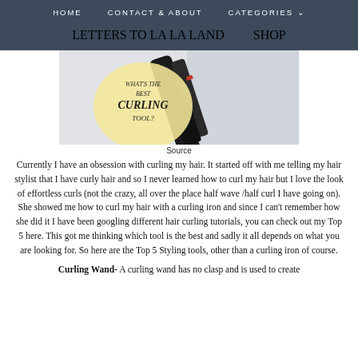HOME   CONTACT & ABOUT   CATEGORIES ˅   LETTERS TO LA LA LAND   SHOP
[Figure (photo): Photo of a curling iron/tool with a circular overlay text reading 'WHAT'S THE BEST CURLING TOOL?' on a light background]
Source
Currently I have an obsession with curling my hair. It started off with me telling my hair stylist that I have curly hair and so I never learned how to curl my hair but I love the look of effortless curls (not the crazy, all over the place half wave /half curl I have going on). She showed me how to curl my hair with a curling iron and since I can't remember how she did it I have been googling different hair curling tutorials, you can check out my Top 5 here. This got me thinking which tool is the best and sadly it all depends on what you are looking for. So here are the Top 5 Styling tools, other than a curling iron of course.
Curling Wand- A curling wand has no clasp and is used to create